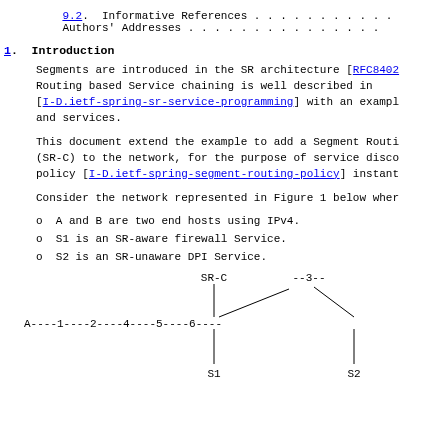9.2. Informative References . . . . . . . . . . . .
Authors' Addresses . . . . . . . . . . . . . . . .
1. Introduction
Segments are introduced in the SR architecture [RFC8402]. Routing based Service chaining is well described in [I-D.ietf-spring-sr-service-programming] with an example and services.
This document extend the example to add a Segment Routing Controller (SR-C) to the network, for the purpose of service discovery and policy [I-D.ietf-spring-segment-routing-policy] instantiation.
Consider the network represented in Figure 1 below where:
o  A and B are two end hosts using IPv4.
o  S1 is an SR-aware firewall Service.
o  S2 is an SR-unaware DPI Service.
[Figure (network-graph): Network topology diagram showing SR-C connected to node 2, nodes A-1-2-4-5-6 in a line, node 3 branching off node 2 and connecting to node 5, S1 below node 2, S2 below node 5.]